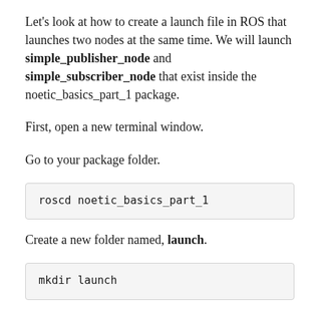Let's look at how to create a launch file in ROS that launches two nodes at the same time. We will launch simple_publisher_node and simple_subscriber_node that exist inside the noetic_basics_part_1 package.
First, open a new terminal window.
Go to your package folder.
roscd noetic_basics_part_1
Create a new folder named, launch.
mkdir launch